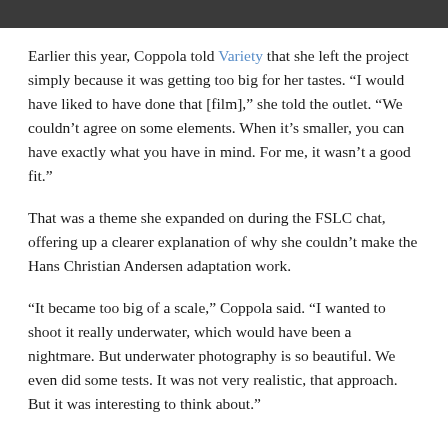[Figure (photo): Dark image strip at top of page, partial view of a photograph]
Earlier this year, Coppola told Variety that she left the project simply because it was getting too big for her tastes. “I would have liked to have done that [film],” she told the outlet. “We couldn’t agree on some elements. When it’s smaller, you can have exactly what you have in mind. For me, it wasn’t a good fit.”
That was a theme she expanded on during the FSLC chat, offering up a clearer explanation of why she couldn’t make the Hans Christian Andersen adaptation work.
“It became too big of a scale,” Coppola said. “I wanted to shoot it really underwater, which would have been a nightmare. But underwater photography is so beautiful. We even did some tests. It was not very realistic, that approach. But it was interesting to think about.”